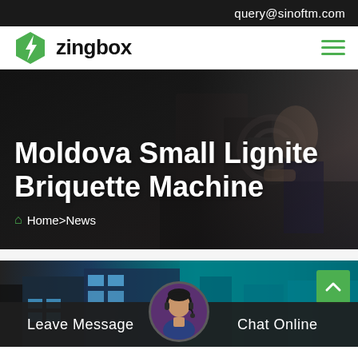query@sinoftm.com
[Figure (logo): Zingbox logo with green lightning bolt hexagon icon and text 'zingbox']
Moldova Small Lignite Briquette Machine
Home>News
[Figure (photo): Industrial machinery scene with workers, and a secondary industrial building scene below]
Leave Message
Chat Online